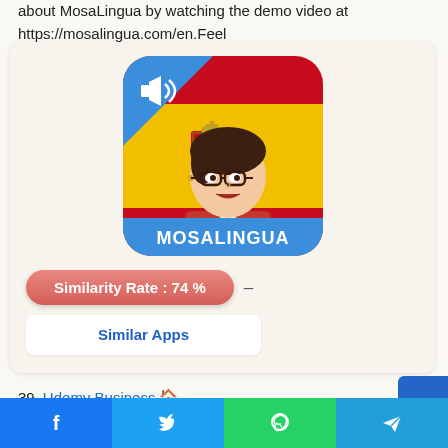about MosaLingua by watching the demo video at https://mosalingua.com/en.Feel
[Figure (screenshot): MosaLingua app icon showing a female avatar with glasses and red outfit over Spanish flag background, with a speaker/audio icon in the top-left corner and 'MOSALINGUA' text at the bottom]
Similarity Rate : 74 % –
Similar Apps
39. Udemy Business
[Figure (infographic): Social media share buttons bar at the bottom: Facebook (blue), Twitter (blue), WhatsApp (green), Telegram (blue)]